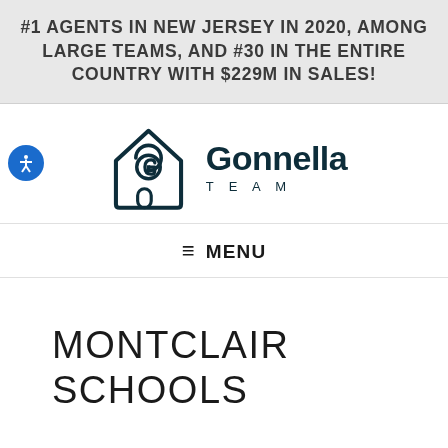#1 AGENTS IN NEW JERSEY IN 2020, AMONG LARGE TEAMS, AND #30 IN THE ENTIRE COUNTRY WITH $229M IN SALES!
[Figure (logo): Gonnella Team logo: stylized house outline with a G lettermark inside, beside the text 'Gonnella TEAM' in dark teal]
≡ MENU
MONTCLAIR SCHOOLS